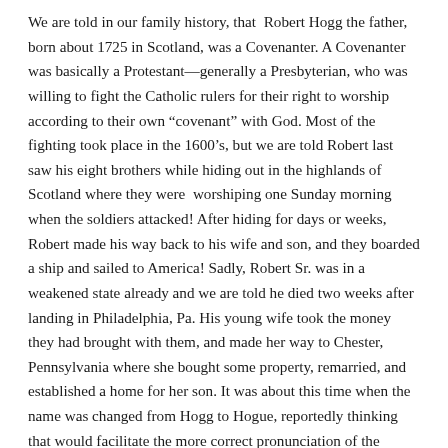We are told in our family history, that Robert Hogg the father, born about 1725 in Scotland, was a Covenanter. A Covenanter was basically a Protestant—generally a Presbyterian, who was willing to fight the Catholic rulers for their right to worship according to their own “covenant” with God. Most of the fighting took place in the 1600’s, but we are told Robert last saw his eight brothers while hiding out in the highlands of Scotland where they were worshiping one Sunday morning when the soldiers attacked! After hiding for days or weeks, Robert made his way back to his wife and son, and they boarded a ship and sailed to America! Sadly, Robert Sr. was in a weakened state already and we are told he died two weeks after landing in Philadelphia, Pa. His young wife took the money they had brought with them, and made her way to Chester, Pennsylvania where she bought some property, remarried, and established a home for her son. It was about this time when the name was changed from Hogg to Hogue, reportedly thinking that would facilitate the more correct pronunciation of the name. What a remarkably strong, courageous woman she must have been! All we know is that she remarried a “Mr.